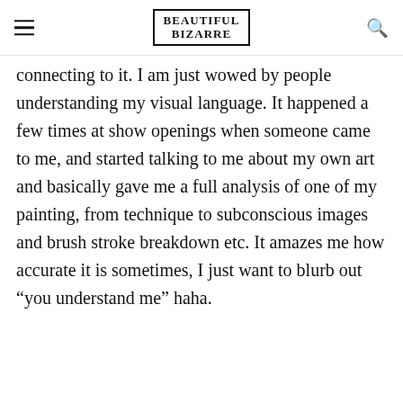BEAUTIFUL BIZARRE
connecting to it. I am just wowed by people understanding my visual language. It happened a few times at show openings when someone came to me, and started talking to me about my own art and basically gave me a full analysis of one of my painting, from technique to subconscious images and brush stroke breakdown etc. It amazes me how accurate it is sometimes, I just want to blurb out “you understand me” haha.